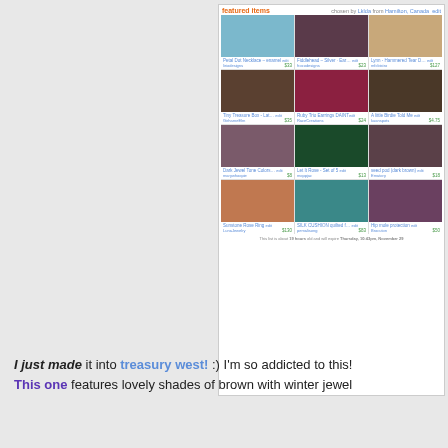[Figure (screenshot): Etsy treasury west featured items grid showing 12 handmade jewelry and craft items in a 3x4 grid layout with item titles, shop names, prices and edit links. Header shows 'featured items chosen by Lklda from Hamilton, Canada edit']
I just made it into treasury west! :) I'm so addicted to this! This one features lovely shades of brown with winter jewel